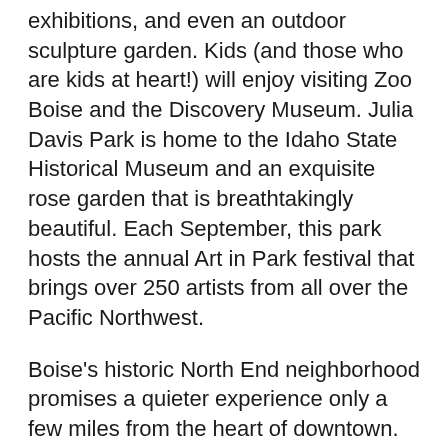exhibitions, and even an outdoor sculpture garden. Kids (and those who are kids at heart!) will enjoy visiting Zoo Boise and the Discovery Museum. Julia Davis Park is home to the Idaho State Historical Museum and an exquisite rose garden that is breathtakingly beautiful. Each September, this park hosts the annual Art in Park festival that brings over 250 artists from all over the Pacific Northwest.
Boise's historic North End neighborhood promises a quieter experience only a few miles from the heart of downtown. Hyde Park is a small strip of stores and restaurants that embodies the feeling of a small town's Main Street. Stop by Parrilla Grill for some chancho street tacos or cool off on a warm day with some ice cream or old-fashioned candy from Goody's Soda Fountain.
Adjacent to Boise, you'll find the city of Meridian.